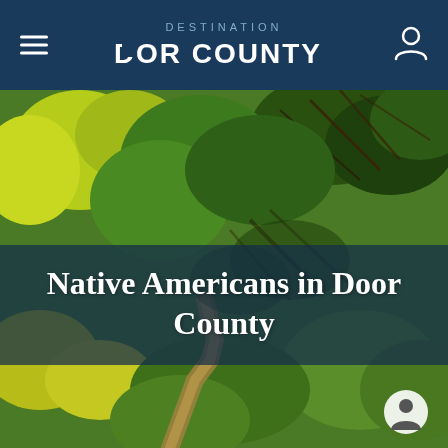DESTINATION DOOR COUNTY
[Figure (photo): Aerial view of dense forest canopy with mix of green and yellow-green trees and a dirt path visible at the bottom]
Native Americans in Door County